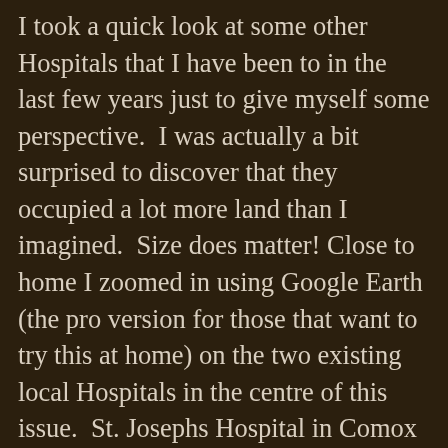I took a quick look at some other Hospitals that I have been to in the last few years just to give myself some perspective.  I was actually a bit surprised to discover that they occupied a lot more land than I imagined.  Size does matter!  Close to home I zoomed in using Google Earth (the pro version for those that want to try this at home) on the two existing local Hospitals in the centre of this issue.  St. Josephs Hospital in Comox occupies 12.6 acres of land and the Campbell River Hospital occupies 8.8 acres.  Each of these sites contains multiple buildings.  I then moved southward and measured the Nanaimo Hospital at 20 acres and it also has multiple buildings on the site.  Going all the way to Victoria General Hospital where we once